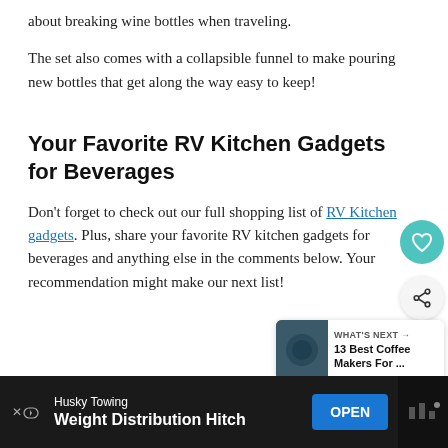about breaking wine bottles when traveling.
The set also comes with a collapsible funnel to make pouring new bottles that get along the way easy to keep!
Your Favorite RV Kitchen Gadgets for Beverages
Don’t forget to check out our full shopping list of RV Kitchen gadgets. Plus, share your favorite RV kitchen gadgets for beverages and anything else in the comments below. Your recommendation might make our next list!
[Figure (screenshot): Social media floating buttons: heart/save button (teal circle) and share button (light gray circle with share icon)]
[Figure (infographic): What's Next card showing '13 Best Coffee Makers For ...' with a dark photo thumbnail]
[Figure (screenshot): Advertisement bar at bottom: Husky Towing - Weight Distribution Hitch with OPEN button]